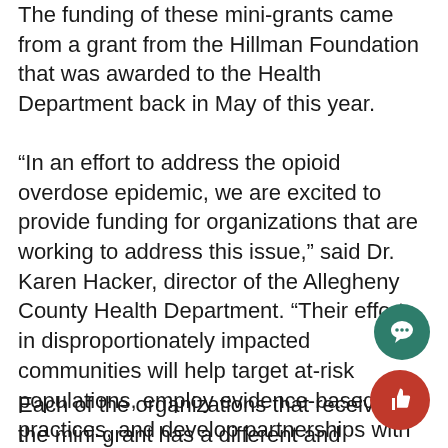The funding of these mini-grants came from a grant from the Hillman Foundation that was awarded to the Health Department back in May of this year.
“In an effort to address the opioid overdose epidemic, we are excited to provide funding for organizations that are working to address this issue,” said Dr. Karen Hacker, director of the Allegheny County Health Department. “Their efforts in disproportionately impacted communities will help target at-risk populations, employ evidence-based practices, and develop partnerships with multiple organizations. We look forward to collaborating with these organizations as they help extend efforts to address the complex issues of opioid overdose, use, and addiction.”
Each of the organizations that received the mini-grant has a different and impactful way to help wi…